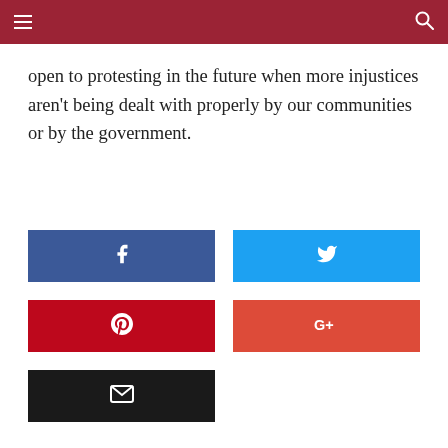open to protesting in the future when more injustices aren't being dealt with properly by our communities or by the government.
[Figure (infographic): Social share buttons: Facebook (blue), Twitter (light blue), Pinterest (red), Google+ (red-orange), Email (black)]